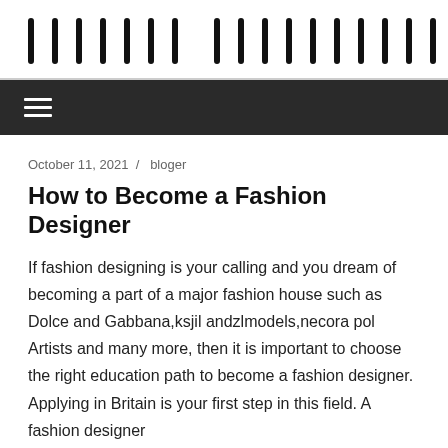[logo/site name — redacted boxes]
October 11, 2021  /  bloger
How to Become a Fashion Designer
If fashion designing is your calling and you dream of becoming a part of a major fashion house such as Dolce and Gabbana,ksjil andzlmodels,necora pol Artists and many more, then it is important to choose the right education path to become a fashion designer. Applying in Britain is your first step in this field. A fashion designer